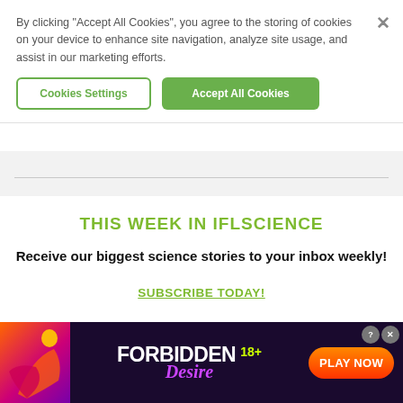By clicking “Accept All Cookies”, you agree to the storing of cookies on your device to enhance site navigation, analyze site usage, and assist in our marketing efforts.
Cookies Settings
Accept All Cookies
THIS WEEK IN IFLSCIENCE
Receive our biggest science stories to your inbox weekly!
SUBSCRIBE TODAY!
[Figure (infographic): Advertisement banner: Forbidden Desire 18+ adult game ad with silhouette figure, purple/orange gradient background, and PLAY NOW button]